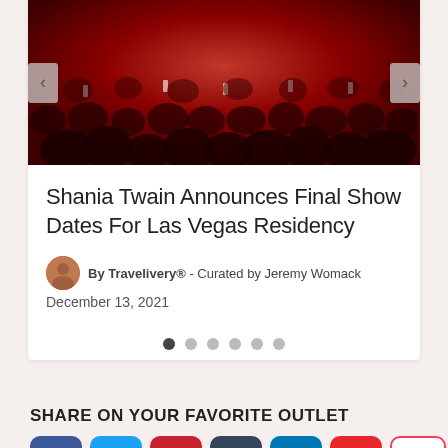[Figure (photo): Concert crowd photo with red lighting, people raising phones]
Shania Twain Announces Final Show Dates For Las Vegas Residency
By Travelivery® - Curated by Jeremy Womack
December 13, 2021
[Figure (infographic): Carousel navigation dots, 6 dots with first one active]
SHARE ON YOUR FAVORITE OUTLET
[Figure (infographic): Social media share buttons: Facebook, Twitter, Pinterest, Tumblr, LinkedIn, Flipboard, Pocket, More]